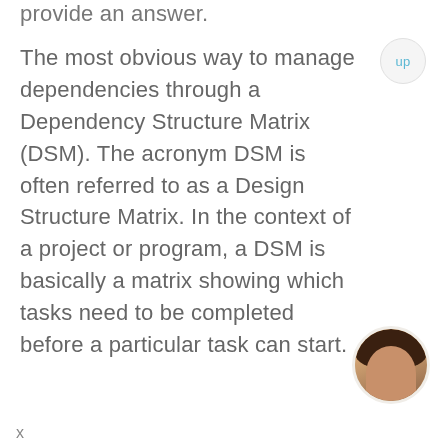provide an answer.
The most obvious way to manage dependencies through a Dependency Structure Matrix (DSM). The acronym DSM is often referred to as a Design Structure Matrix. In the context of a project or program, a DSM is basically a matrix showing which tasks need to be completed before a particular task can start.